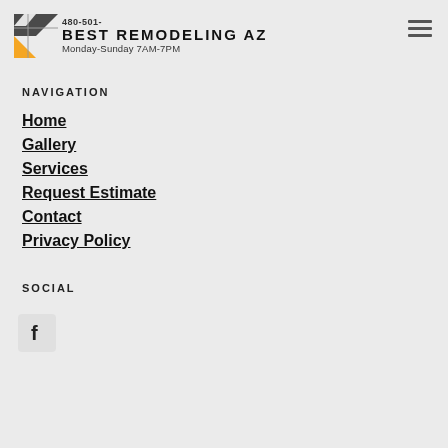BEST REMODELING AZ | Monday-Sunday 7AM-7PM
NAVIGATION
Home
Gallery
Services
Request Estimate
Contact
Privacy Policy
SOCIAL
[Figure (logo): Facebook social media icon]